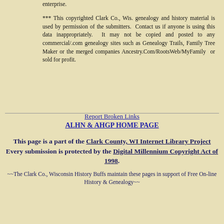enterprise.
*** This copyrighted Clark Co., Wis. genealogy and history material is used by permission of the submitters. Contact us if anyone is using this data inappropriately. It may not be copied and posted to any commercial/.com genealogy sites such as Genealogy Trails, Family Tree Maker or the merged companies Ancestry.Com/RootsWeb/MyFamily or sold for profit.
Report Broken Links
ALHN & AHGP HOME PAGE
This page is a part of the Clark County, WI Internet Library Project Every submission is protected by the Digital Millennium Copyright Act of 1998.
~~The Clark Co., Wisconsin History Buffs maintain these pages in support of Free On-line History & Genealogy~~